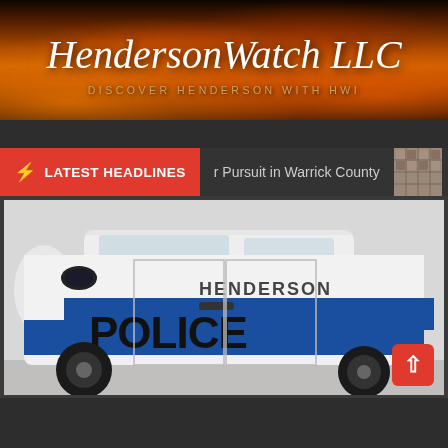HendersonWatch LLC
DISCOVER HENDERSON WITH HWI
LATEST HEADLINES
r Pursuit in Warrick County
Warr
[Figure (photo): Henderson Police SUV vehicle with blue stripe and bold POLICE and HENDERSON lettering on the side door]